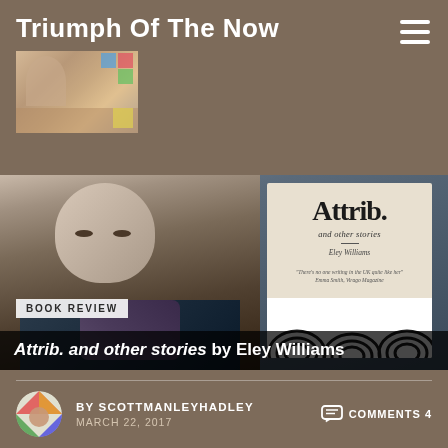Triumph Of The Now
[Figure (photo): Person holding a book titled 'Attrib. and other stories' by Eley Williams, with black and white swirled pattern at the bottom of the book cover]
BOOK REVIEW
Attrib. and other stories by Eley Williams
BY SCOTTMANLEYHADLEY
MARCH 22, 2017
COMMENTS 4